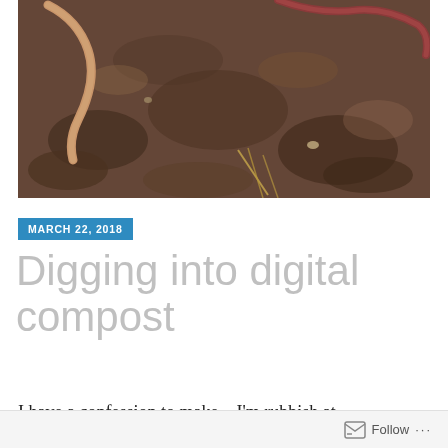[Figure (photo): Close-up photograph of earthworms on dark soil/compost]
MARCH 22, 2018
Digging into digital compost
I have a confession to make – I'm rubbish at
Follow